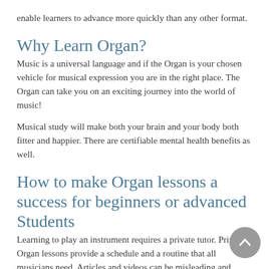enable learners to advance more quickly than any other format.
Why Learn Organ?
Music is a universal language and if the Organ is your chosen vehicle for musical expression you are in the right place. The Organ can take you on an exciting journey into the world of music!
Musical study will make both your brain and your body both fitter and happier. There are certifiable mental health benefits as well.
How to make Organ lessons a success for beginners or advanced Students
Learning to play an instrument requires a private tutor. Private Organ lessons provide a schedule and a routine that all musicians need. Articles and videos can be misleading and misunderstood. To play the Organ you will